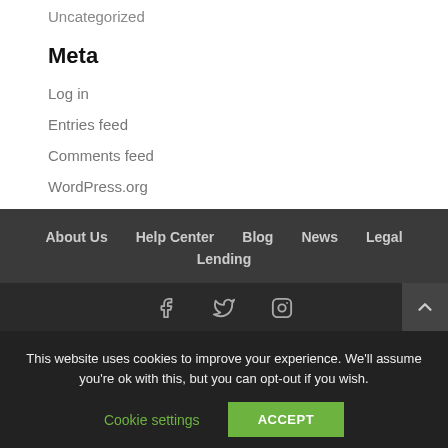Uncategorized
Meta
Log in
Entries feed
Comments feed
WordPress.org
About Us   Help Center   Blog   News   Legal   Lending
[Figure (other): Social media icons: Facebook, Twitter, Instagram]
This website uses cookies to improve your experience. We'll assume you're ok with this, but you can opt-out if you wish.
Cookie settings   ACCEPT